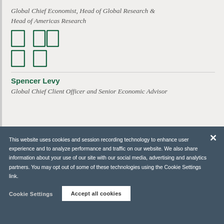Global Chief Economist, Head of Global Research & Head of Americas Research
[Figure (other): Social media icon links (LinkedIn and other icons) shown as green outlined squares/rectangles]
[Figure (other): Additional social media or contact icons in green outline style]
Spencer Levy
Global Chief Client Officer and Senior Economic Advisor
This website uses cookies and session recording technology to enhance user experience and to analyze performance and traffic on our website. We also share information about your use of our site with our social media, advertising and analytics partners. You may opt out of some of these technologies using the Cookie Settings link.
Cookie Settings
Accept all cookies